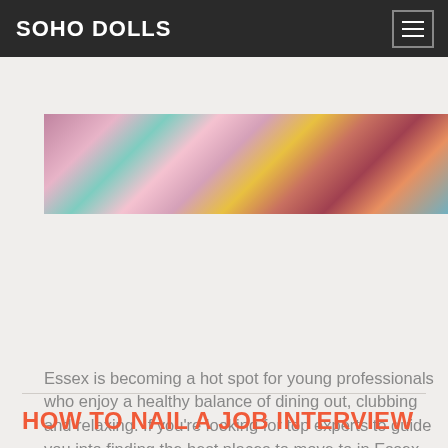SOHO DOLLS
[Figure (photo): Colorful party/nightlife scene with confetti and vibrant lights in pink, teal, and gold tones]
Essex is becoming a hot spot for young professionals who enjoy a healthy balance of dining out, clubbing and relaxing. If you're looking for top experts to guide you into finding the best places to move to in Essex, look no further than an estate agents in Essex who will be able to guide you… Read More
HOW TO NAIL A JOB INTERVIEW